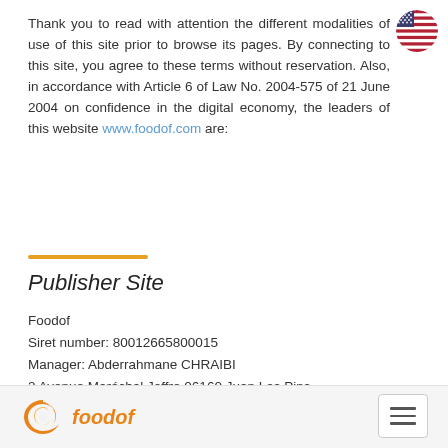[Figure (illustration): US flag circle icon in top right corner]
Thank you to read with attention the different modalities of use of this site prior to browse its pages. By connecting to this site, you agree to these terms without reservation. Also, in accordance with Article 6 of Law No. 2004-575 of 21 June 2004 on confidence in the digital economy, the leaders of this website www.foodof.com are:
Publisher Site
Foodof
Siret number: 80012665800015
Manager: Abderrahmane CHRAIBI
2 Avenue Maréchal Joffre 06160 Juan Les Pins
Email: contact@foodof.com
[Figure (logo): Foodof logo with orange swirl icon and italic orange text 'foodof']